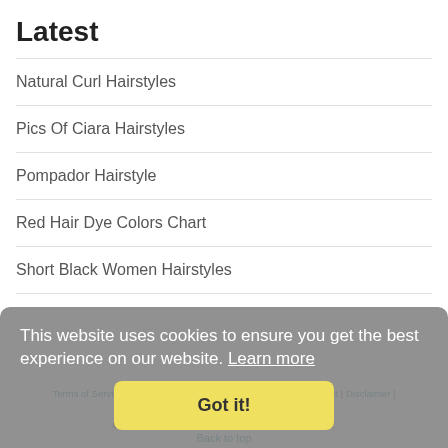Latest
Natural Curl Hairstyles
Pics Of Ciara Hairstyles
Pompador Hairstyle
Red Hair Dye Colors Chart
Short Black Women Hairstyles
Terms of Service | Privacy Policy | DMCA Notice | Removal Request | Disclaimer | Contact Us
Copyright © 2022 wallsumo.com - All rights reserved.
Back to top
This website uses cookies to ensure you get the best experience on our website. Learn more